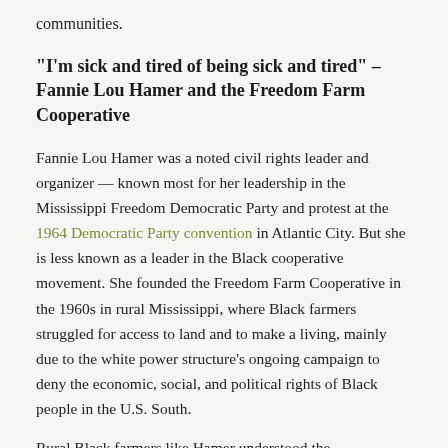communities.
“I’m sick and tired of being sick and tired” – Fannie Lou Hamer and the Freedom Farm Cooperative
Fannie Lou Hamer was a noted civil rights leader and organizer — known most for her leadership in the Mississippi Freedom Democratic Party and protest at the 1964 Democratic Party convention in Atlantic City. But she is less known as a leader in the Black cooperative movement. She founded the Freedom Farm Cooperative in the 1960s in rural Mississippi, where Black farmers struggled for access to land and to make a living, mainly due to the white power structure’s ongoing campaign to deny the economic, social, and political rights of Black people in the U.S. South.
Rural Black farmers like Hamer understood the